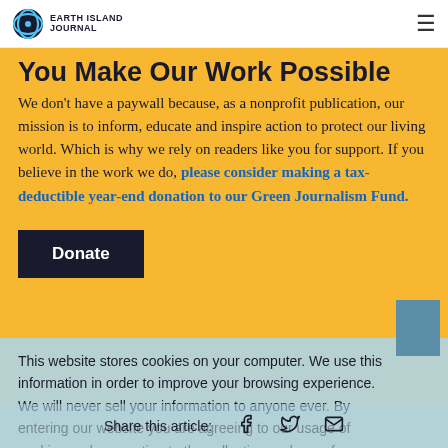Earth Island Journal
You Make Our Work Possible
We don't have a paywall because, as a nonprofit publication, our mission is to inform, educate and inspire action to protect our living world. Which is why we rely on readers like you for support. If you believe in the work we do, please consider making a tax-deductible year-end donation to our Green Journalism Fund.
Donate
This website stores cookies on your computer. We use this information in order to improve your browsing experience. We will never sell your information to anyone ever. By entering our website you are agreeing to our usage of cookies and consenting to the collection and use of your information. To find out more about the cookies we use, see our Privacy Policy Page.
Share this article: